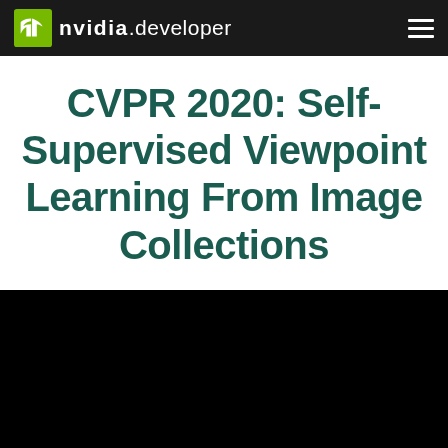NVIDIA DEVELOPER
CVPR 2020: Self-Supervised Viewpoint Learning From Image Collections
[Figure (other): Black video/media player area below the title]